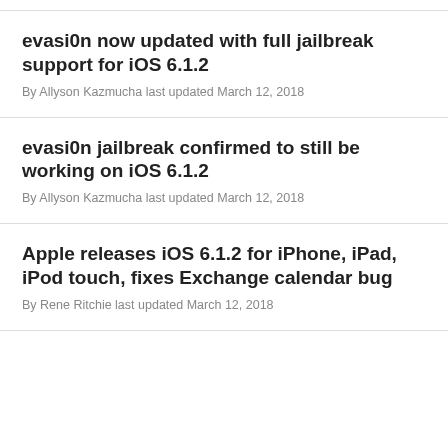evasi0n now updated with full jailbreak support for iOS 6.1.2
By Allyson Kazmucha last updated March 12, 2018
evasi0n jailbreak confirmed to still be working on iOS 6.1.2
By Allyson Kazmucha last updated March 12, 2018
Apple releases iOS 6.1.2 for iPhone, iPad, iPod touch, fixes Exchange calendar bug
By Rene Ritchie last updated March 12, 2018